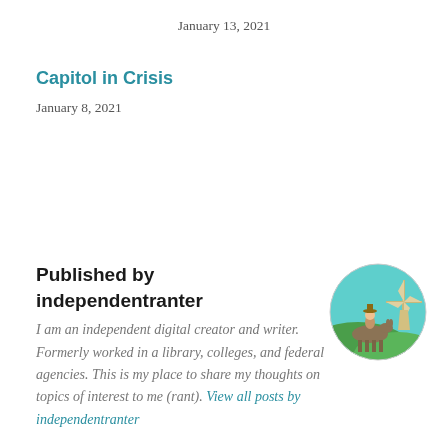January 13, 2021
Capitol in Crisis
January 8, 2021
Published by independentranter
I am an independent digital creator and writer. Formerly worked in a library, colleges, and federal agencies. This is my place to share my thoughts on topics of interest to me (rant). View all posts by independentranter
[Figure (illustration): Circular avatar image showing an illustrated scene with a person riding a donkey on green hills with a windmill in the background, set against a turquoise sky.]